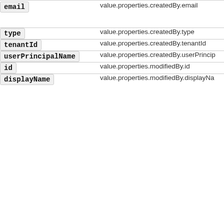| Property | Value Path |
| --- | --- |
| email | value.properties.createdBy.email |
| type | value.properties.createdBy.type |
| tenantId | value.properties.createdBy.tenantId |
| userPrincipalName | value.properties.createdBy.userPrincipalName |
| id | value.properties.modifiedBy.id |
| displayName | value.properties.modifiedBy.displayName |